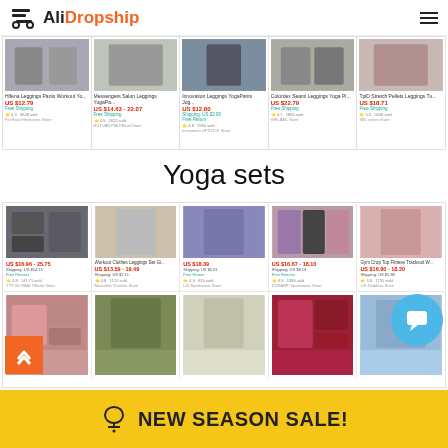AliDropship
[Figure (screenshot): AliExpress product listing strip showing 5 leggings products with prices ranging US $12.79 to US $22.79]
Yoga sets
[Figure (screenshot): AliExpress yoga sets product grid showing 10 products with prices ranging US $13.59 to US $25.75]
NEW SEASON SALE!